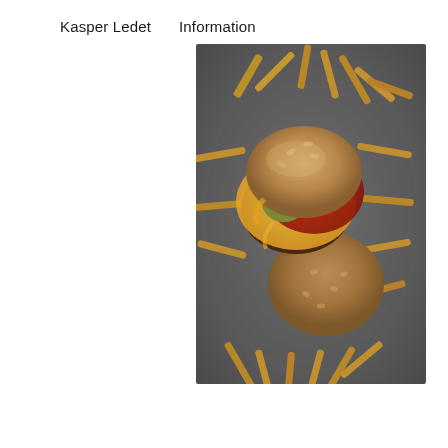Kasper Ledet    Information
[Figure (photo): Overhead top-down food photography of an open hamburger with fries scattered around it on a dark grey surface. The burger bun is open showing a patty with melted cheese, ketchup/tomato sauce, and a pickle. French fries are spread across the plate. Studio scanner-style flat lay.]
Food Portraits
A sharwarma, a hamburger with fries and a hotdog scanned in a standard desktop